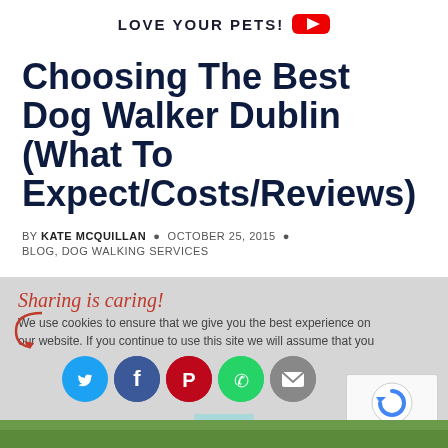LOVE YOUR PETS!
Choosing The Best Dog Walker Dublin (What To Expect/Costs/Reviews)
BY KATE MCQUILLAN · OCTOBER 25, 2015 · BLOG, DOG WALKING SERVICES
[Figure (infographic): Sharing is caring! social share bar with Twitter, Facebook, Pinterest, WhatsApp, Email icons and cookie consent overlay]
[Figure (photo): Bottom strip of outdoor/nature image in green tones]